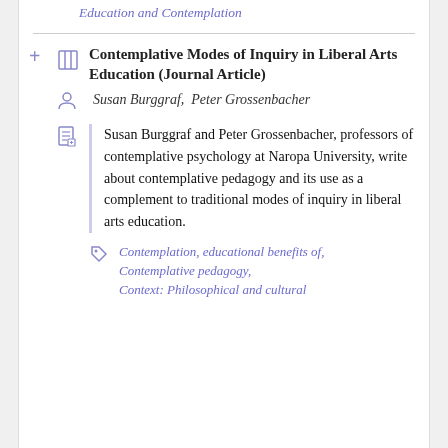Education and Contemplation
Contemplative Modes of Inquiry in Liberal Arts Education (Journal Article)
Susan Burggraf,  Peter Grossenbacher
Susan Burggraf and Peter Grossenbacher, professors of contemplative psychology at Naropa University, write about contemplative pedagogy and its use as a complement to traditional modes of inquiry in liberal arts education.
Contemplation, educational benefits of,
Contemplative pedagogy,
Context: Philosophical and cultural